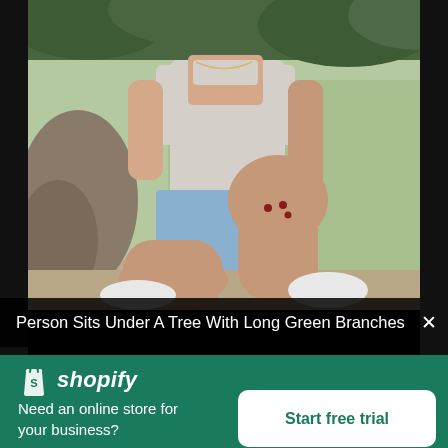[Figure (photo): A person in a white tank top and denim shorts sits cross-legged on a surface outdoors under a tree with long green branches. The person wears white sneakers and has red nail polish.]
Person Sits Under A Tree With Long Green Branches
[Figure (logo): Shopify logo — white shopping bag icon with 'S' followed by italic white text 'shopify']
Need an online store for your business?
Start free trial